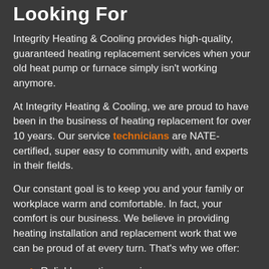Looking For
Integrity Heating & Cooling provides high-quality, guaranteed heating replacement services when your old heat pump or furnace simply isn't working anymore.
At Integrity Heating & Cooling, we are proud to have been in the business of heating replacement for over 10 years. Our service technicians are NATE-certified, super easy to community with, and experts in their fields.
Our constant goal is to keep you and your family or workplace warm and comfortable. In fact, your comfort is our business. We believe in providing heating installation and replacement work that we can be proud of at every turn. That's why we offer:
Reliable, on-time service